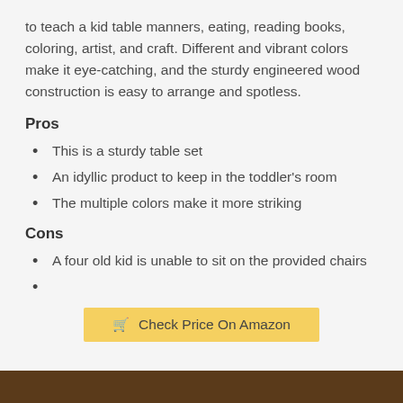to teach a kid table manners, eating, reading books, coloring, artist, and craft. Different and vibrant colors make it eye-catching, and the sturdy engineered wood construction is easy to arrange and spotless.
Pros
This is a sturdy table set
An idyllic product to keep in the toddler's room
The multiple colors make it more striking
Cons
A four old kid is unable to sit on the provided chairs
[Figure (other): Yellow button labeled 'Check Price On Amazon' with a shopping cart icon]
[Figure (photo): Bottom edge of a photo, showing a brown/dark surface, cropped at the bottom of the page]